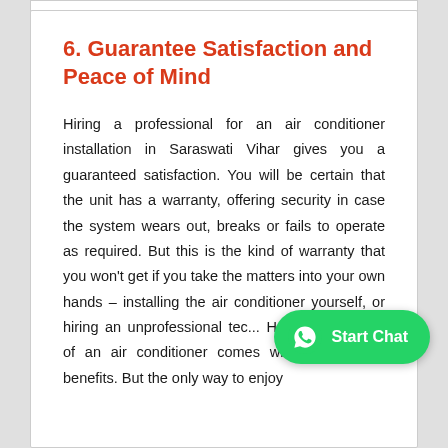6. Guarantee Satisfaction and Peace of Mind
Hiring a professional for an air conditioner installation in Saraswati Vihar gives you a guaranteed satisfaction. You will be certain that the unit has a warranty, offering security in case the system wears out, breaks or fails to operate as required. But this is the kind of warranty that you won't get if you take the matters into your own hands – installing the air conditioner yourself, or hiring an unprofessional te... Having the facility of an air conditioner comes with innumerable benefits. But the only way to enjoy
[Figure (other): WhatsApp Start Chat button overlay — green pill-shaped button with WhatsApp logo and 'Start Chat' label]